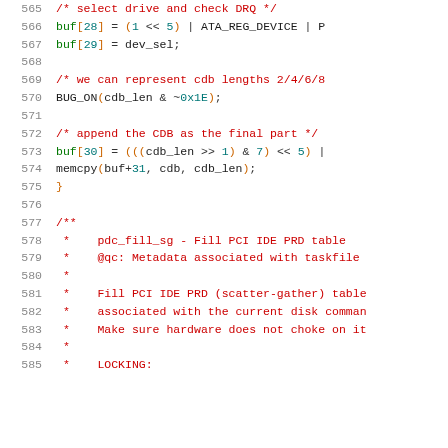Source code listing, lines 565-585, showing C kernel driver code for PDC fill SG function